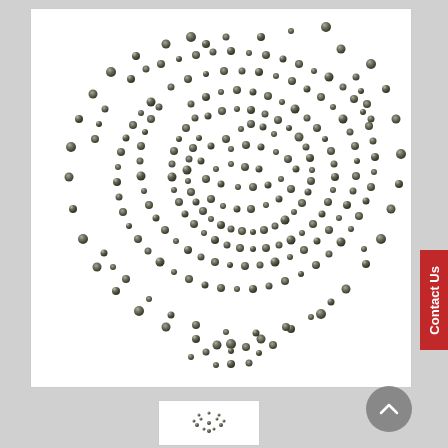[Figure (photo): A large pile of small metallic/steel spherical beads or balls, dark silvery gunmetal color, scattered in a roughly circular mound on a white background. Hundreds of small shiny spheres of varying sizes.]
[Figure (photo): Thumbnail image of the same metallic beads, partially visible at the bottom of the page.]